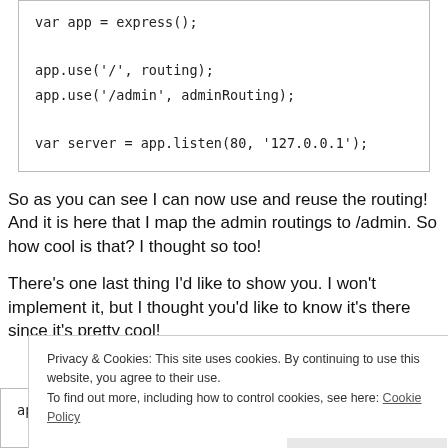var app = express();

app.use('/', routing);
app.use('/admin', adminRouting);

var server = app.listen(80, '127.0.0.1');
So as you can see I can now use and reuse the routing! And it is here that I map the admin routings to /admin. So how cool is that? I thought so too!
There’s one last thing I’d like to show you. I won’t implement it, but I thought you’d like to know it’s there since it’s pretty cool!
Privacy & Cookies: This site uses cookies. By continuing to use this website, you agree to their use.
To find out more, including how to control cookies, see here: Cookie Policy
Close and accept
app.route('/admin/users')